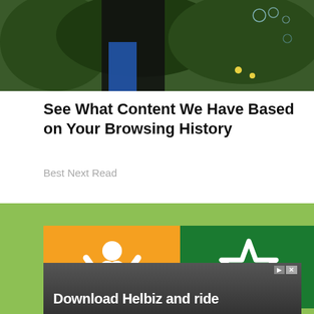[Figure (photo): Outdoor photo of a person in a black top with green trees and bubbles in the background]
See What Content We Have Based on Your Browsing History
Best Next Read
[Figure (illustration): Green banner background with two app icons: orange square with white human figure, and dark green square with white star outline]
[Figure (photo): Advertisement overlay showing a scooter with text 'Download Helbiz and ride']